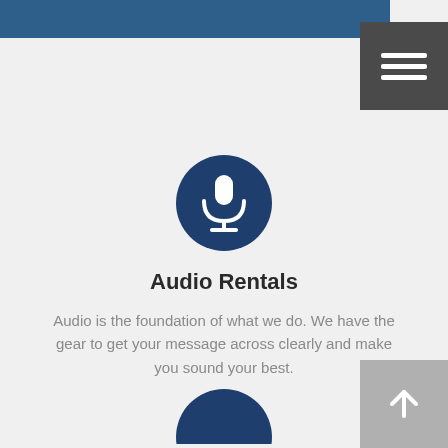[Figure (illustration): Dark blue circle with white microphone icon representing audio rentals]
Audio Rentals
Audio is the foundation of what we do. We have the gear to get your message across clearly and make you sound your best.
[Figure (illustration): Partial dark blue circle visible at bottom of page, another service icon]